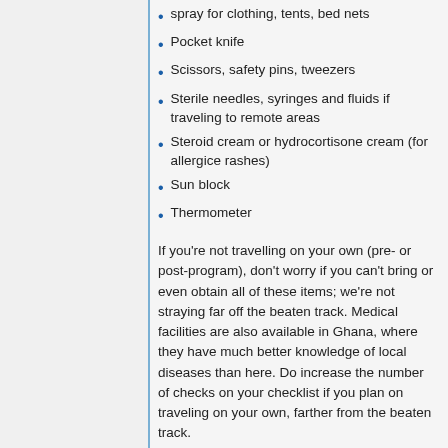spray for clothing, tents, bed nets
Pocket knife
Scissors, safety pins, tweezers
Sterile needles, syringes and fluids if traveling to remote areas
Steroid cream or hydrocortisone cream (for allergice rashes)
Sun block
Thermometer
If you're not travelling on your own (pre- or post-program), don't worry if you can't bring or even obtain all of these items; we're not straying far off the beaten track. Medical facilities are also available in Ghana, where they have much better knowledge of local diseases than here. Do increase the number of checks on your checklist if you plan on traveling on your own, farther from the beaten track.
Note: Both the UofC campus and the